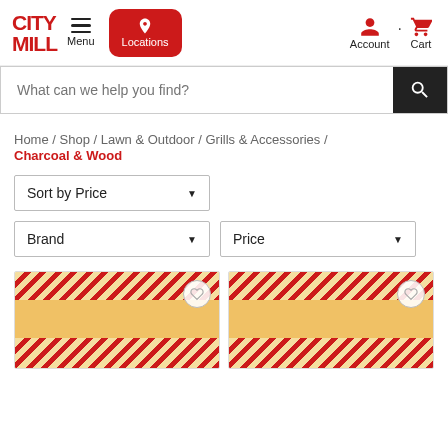[Figure (logo): City Mill logo in red text]
Menu
[Figure (other): Locations button with map pin icon]
Account
Cart
What can we help you find?
Home / Shop / Lawn & Outdoor / Grills & Accessories / Charcoal & Wood
Sort by Price
Brand
Price
[Figure (photo): Product card 1: charcoal/wood product with red and yellow packaging, partially visible]
[Figure (photo): Product card 2: charcoal/wood product with red and yellow packaging, partially visible]